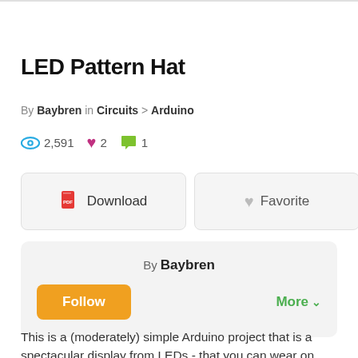LED Pattern Hat
By Baybren in Circuits > Arduino
2,591 views   2 favorites   1 comment
Download   Favorite
By Baybren   Follow   More
This is a (moderately) simple Arduino project that is a spectacular display from LEDs - that you can wear on